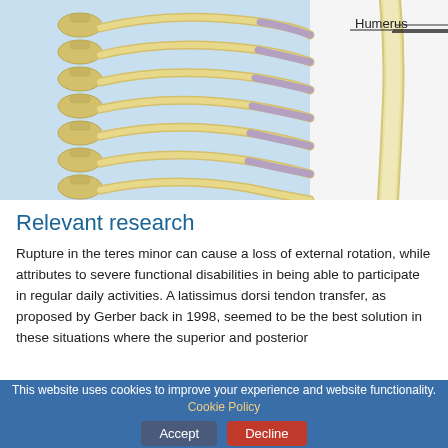[Figure (illustration): Anatomical illustration of the human rib cage and humerus bone. Shows 3D rendered bones including ribs, spine/vertebrae on the left side, and the humerus bone on the right with a labeled annotation line pointing to it. Background is light blue.]
Relevant research
Rupture in the teres minor can cause a loss of external rotation, while attributes to severe functional disabilities in being able to participate in regular daily activities. A latissimus dorsi tendon transfer, as proposed by Gerber back in 1998, seemed to be the best solution in these situations where the superior and posterior
This website uses cookies to improve your experience and website functionality. Cookie Policy   Accept   Decline